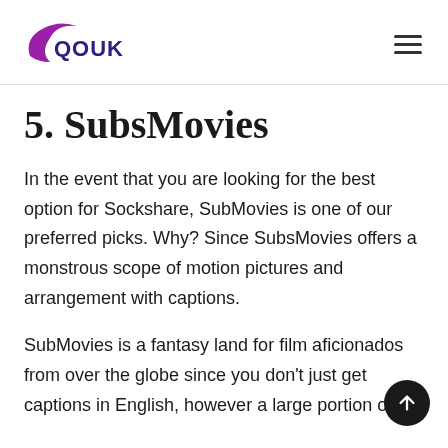QOUK
5. SubsMovies
In the event that you are looking for the best option for Sockshare, SubMovies is one of our preferred picks. Why? Since SubsMovies offers a monstrous scope of motion pictures and arrangement with captions.
SubMovies is a fantasy land for film aficionados from over the globe since you don't just get captions in English, however a large portion of the